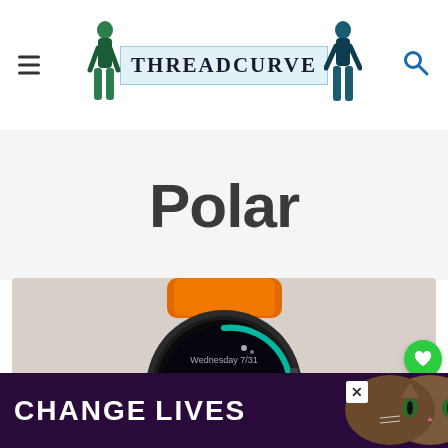THREADCURVE - website header with logo, menu icon, and search icon
Polar
[Figure (photo): Photo of a Polar GPS smartwatch with orange band, displaying time 5:58 on its round screen, placed on a light surface]
[Figure (photo): Ad banner at the bottom showing a cat with text CHANGE LIVES on a dark purple background]